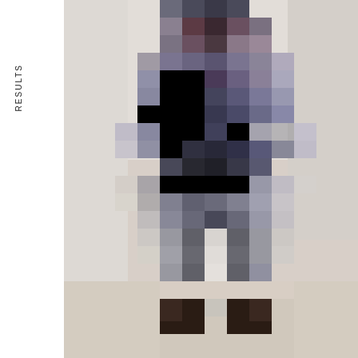RESULTS
[Figure (photo): Pixelated/blurred full-length photograph of a person standing, wearing a dark jacket on top and lighter trousers, with dark shoes. The image is heavily pixelated to obscure identity. Light/neutral background.]